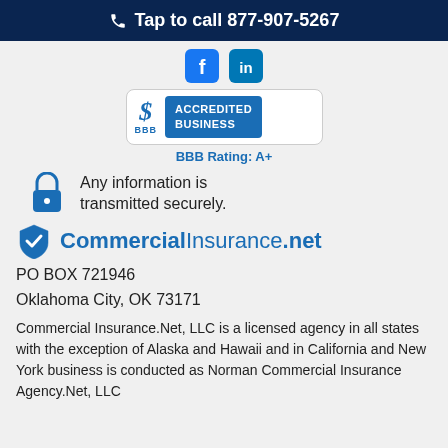Tap to call 877-907-5267
[Figure (logo): Social media icons: Facebook and LinkedIn]
[Figure (logo): BBB Accredited Business badge with BBB Rating: A+]
Any information is transmitted securely.
[Figure (logo): CommercialInsurance.net logo with shield checkmark icon]
PO BOX 721946
Oklahoma City, OK 73171
Commercial Insurance.Net, LLC is a licensed agency in all states with the exception of Alaska and Hawaii and in California and New York business is conducted as Norman Commercial Insurance Agency.Net, LLC